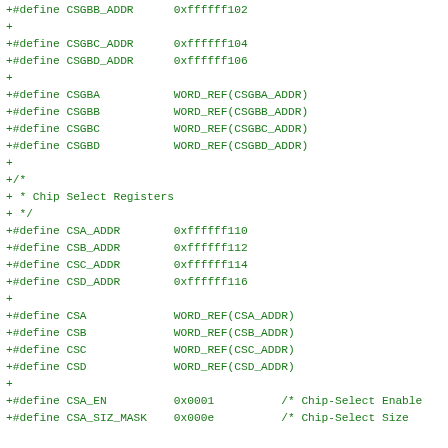+#define CSGBB_ADDR      0xffffff102
+
+#define CSGBC_ADDR      0xffffff104
+#define CSGBD_ADDR      0xffffff106
+
+#define CSGBA          WORD_REF(CSGBA_ADDR)
+#define CSGBB          WORD_REF(CSGBB_ADDR)
+#define CSGBC          WORD_REF(CSGBC_ADDR)
+#define CSGBD          WORD_REF(CSGBD_ADDR)
+
+/*
+ * Chip Select Registers
+ */
+#define CSA_ADDR        0xffffff110
+#define CSB_ADDR        0xffffff112
+#define CSC_ADDR        0xffffff114
+#define CSD_ADDR        0xffffff116
+
+#define CSA            WORD_REF(CSA_ADDR)
+#define CSB            WORD_REF(CSB_ADDR)
+#define CSC            WORD_REF(CSC_ADDR)
+#define CSD            WORD_REF(CSD_ADDR)
+
+#define CSA_EN          0x0001          /* Chip-Select Enable
+#define CSA_SIZ_MASK    0x000e          /* Chip-Select Size